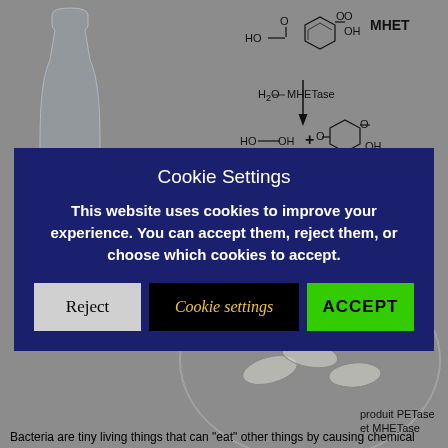[Figure (schematic): Background illustration showing a plastic bottle on the left with a circular diagram of bacteria below, and chemical reaction diagram showing MHET molecule being broken down by MHETase enzyme into ethylene glycol (HO-CH2CH2-OH) and terephthalic acid, with label 'produit PETase et MHETase' near the bacteria circle.]
Cookie Settings
This website uses cookies to improve your experience. You can accept them, reject them, or choose which cookies to accept.
Reject | Cookie settings | ACCEPT
Bacteria are tiny living things that can "eat" other things by causing chemical